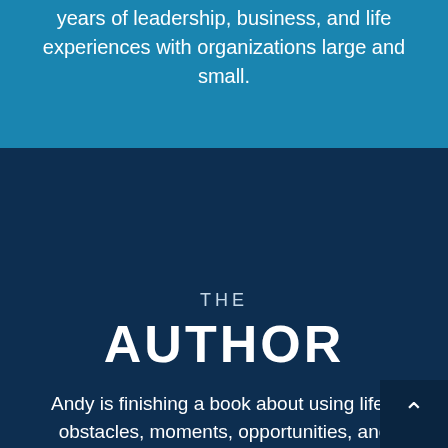years of leadership, business, and life experiences with organizations large and small.
THE
AUTHOR
Andy is finishing a book about using life's obstacles, moments, opportunities, and